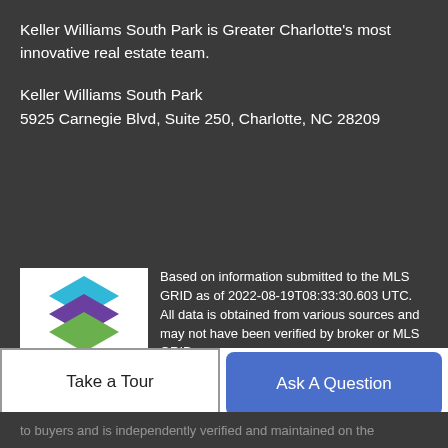Keller Williams South Park is Greater Charlotte's most innovative real estate team.
Keller Williams South Park
5925 Carnegie Blvd, Suite 250, Charlotte, NC 28209
[Figure (logo): MLS GRID logo with stacked colored diamond shapes above the text 'MLS GRiD' on a white background]
Based on information submitted to the MLS GRID as of 2022-08-19T08:33:30.603 UTC. All data is obtained from various sources and may not have been verified by broker or MLS GRID. Supplied Open House Information is subject to change without notice. All information should be independently reviewed and verified for accuracy. Properties may or may not be listed by the office/agent presenting the information. The data relating to real
Take a Tour
Ask A Question
to buyers and is independently verified and maintained by the